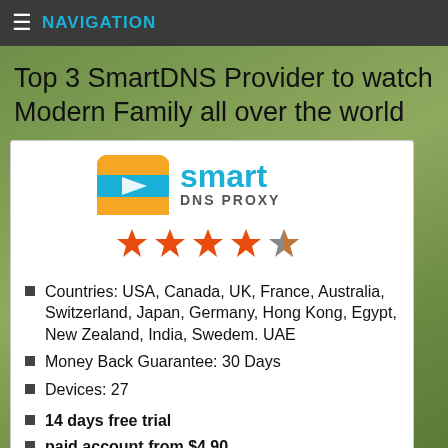≡ NAVIGATION
Top 3 SmartDNS Provider to watch Modern Family all over the world
[Figure (logo): Smart DNS Proxy logo with orange/blue icon and teal 'smart DNS PROXY' text]
[Figure (other): 4.5 star rating shown as 4 red/orange stars and 1 grey star]
Countries: USA, Canada, UK, France, Australia, Switzerland, Japan, Germany, Hong Kong, Egypt, New Zealand, India, Swedem. UAE
Money Back Guarantee: 30 Days
Devices: 27
14 days free trial
paid account from $4.90